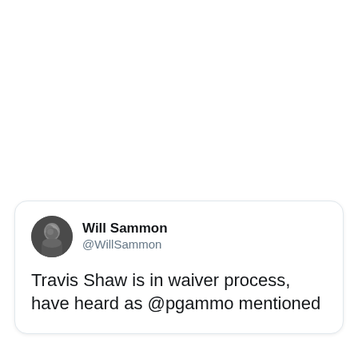[Figure (screenshot): Tweet card from Will Sammon (@WillSammon) showing partial tweet text: 'Travis Shaw is in waiver process, have heard as @pgammo mentioned']
Will Sammon @WillSammon Travis Shaw is in waiver process, have heard as @pgammo mentioned